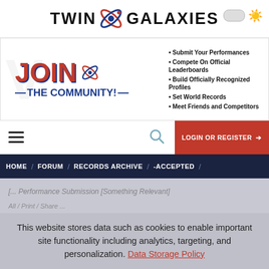[Figure (logo): Twin Galaxies logo with stylized orbiting icon between TWIN and GALAXIES text]
[Figure (infographic): JOIN THE COMMUNITY! banner ad with bullet points listing: Submit Your Performances, Compete On Official Leaderboards, Build Officially Recognized Profiles, Set World Records, Meet Friends and Competitors]
[Figure (screenshot): Navigation toolbar with hamburger menu, search icon, and LOGIN OR REGISTER button]
HOME / FORUM / RECORDS ARCHIVE / -ACCEPTED /
This website stores data such as cookies to enable important site functionality including analytics, targeting, and personalization. Data Storage Policy
Accept
Deny